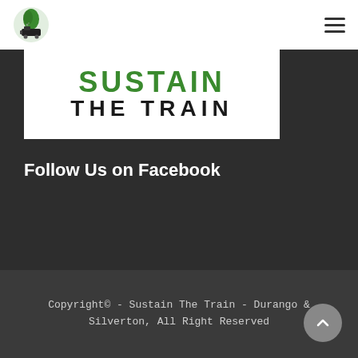Sustain The Train navigation header with logo and hamburger menu
[Figure (logo): Sustain The Train logo with green leaf and train icon, and banner reading SUSTAIN THE TRAIN in green and black bold text on white background]
Follow Us on Facebook
Copyright© - Sustain The Train - Durango & Silverton, All Right Reserved